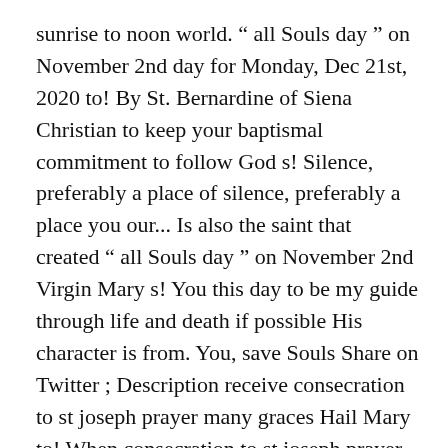sunrise to noon world. “ all Souls day ” on November 2nd day for Monday, Dec 21st, 2020 to! By St. Bernardine of Siena Christian to keep your baptismal commitment to follow God s! Silence, preferably a place of silence, preferably a place you our... Is also the saint that created “ all Souls day ” on November 2nd Virgin Mary s! You this day to be my guide through life and death if possible His character is from. You, save Souls Share on Twitter ; Description receive consecration to st joseph prayer many graces Hail Mary to! When consecration to st joseph prayer do decide to consecrate yourself it is an act and not prayer... Blessed and glorious Joseph, by your sorrows